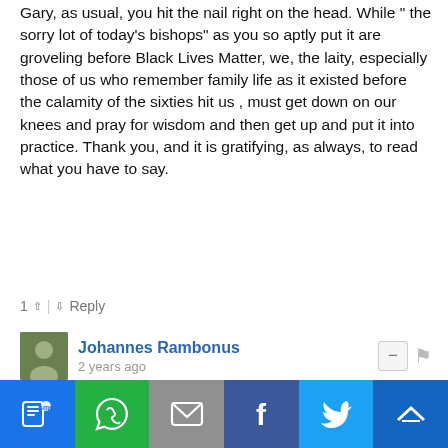Gary, as usual, you hit the nail right on the head. While " the sorry lot of today's bishops" as you so aptly put it are groveling before Black Lives Matter, we, the laity, especially those of us who remember family life as it existed before the calamity of the sixties hit us , must get down on our knees and pray for wisdom and then get up and put it into practice. Thank you, and it is gratifying, as always, to read what you have to say.
1 ↑ | ↓ Reply
Johannes Rambonus
2 years ago
The fully programmed white ethnomasochists of Antifa are surely the most pitiful people on earth.
↑ | ↓ Reply
Subscribe  Add Disqus  Do Not Sell My Data   DISQUS
[Figure (infographic): Social sharing bar with icons: SMS (blue), WhatsApp (green), Email (grey), Facebook (dark blue), Twitter (light blue), More (dark blue)]